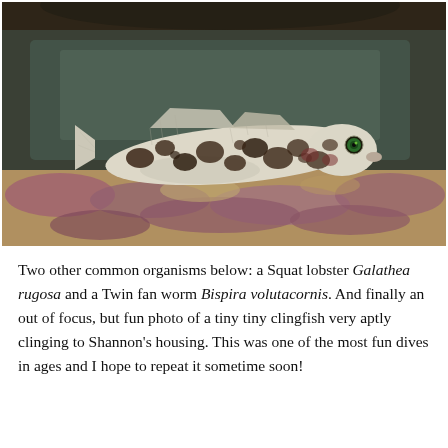[Figure (photo): Underwater photograph of a small spotted fish (goby or similar species) resting on the seafloor. The fish has a pale/white body covered with dark brown-black spots, a prominent green eye, and visible dorsal fins. The background shows dark rock above and pink/red coralline algae and sandy substrate below.]
Two other common organisms below: a Squat lobster Galathea rugosa and a Twin fan worm Bispira volutacornis. And finally an out of focus, but fun photo of a tiny tiny clingfish very aptly clinging to Shannon's housing. This was one of the most fun dives in ages and I hope to repeat it sometime soon!